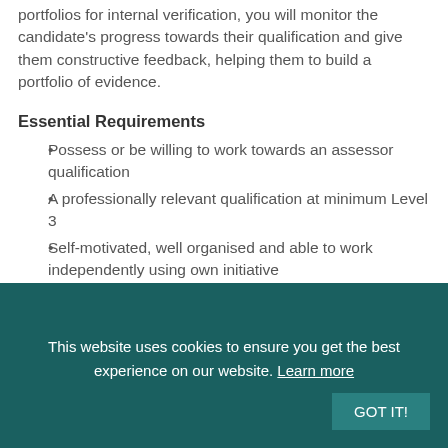portfolios for internal verification, you will monitor the candidate's progress towards their qualification and give them constructive feedback, helping them to build a portfolio of evidence.
Essential Requirements
Possess or be willing to work towards an assessor qualification
A professionally relevant qualification at minimum Level 3
Self-motivated, well organised and able to work independently using own initiative
Candidates must hold a valid driving licence and have access to their own
This website uses cookies to ensure you get the best experience on our website. Learn more